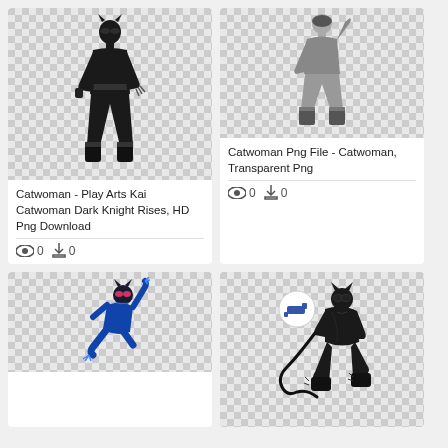[Figure (illustration): Catwoman in black leather suit, full body standing pose, Play Arts Kai Dark Knight Rises figure, on transparent/checker background]
Catwoman - Play Arts Kai Catwoman Dark Knight Rises, HD Png Download
👁 0  ⬇ 0
[Figure (illustration): Catwoman in grey bodysuit, full body standing pose, on transparent/checker background]
Catwoman Png File - Catwoman, Transparent Png
👁 0  ⬇ 0
[Figure (illustration): Animated Catwoman in blue/black suit, action pose, on transparent/checker background]
[Figure (illustration): Catwoman crouching with whip, dark detailed illustration, on transparent/checker background with gun icon overlay]